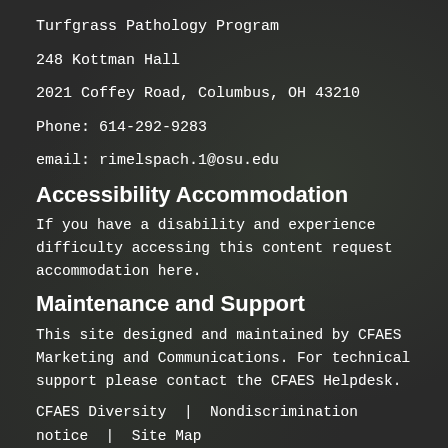Turfgrass Pathology Program
248 Kottman Hall
2021 Coffey Road, Columbus, OH 43210
Phone: 614-292-9283
email: rimelspach.1@osu.edu
Accessibility Accommodation
If you have a disability and experience difficulty accessing this content request accommodation here.
Maintenance and Support
This site designed and maintained by CFAES Marketing and Communications. For technical support please contact the CFAES Helpdesk.
CFAES Diversity  |  Nondiscrimination notice  |  Site Map